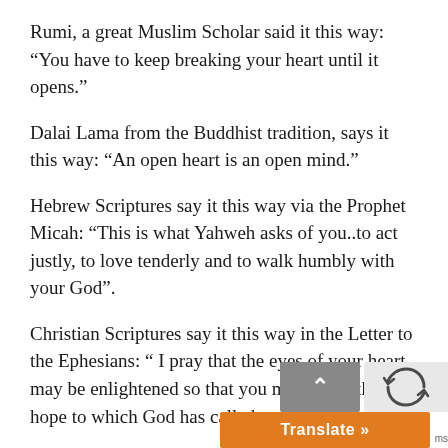Rumi, a great Muslim Scholar said it this way: “You have to keep breaking your heart until it opens.”
Dalai Lama from the Buddhist tradition, says it this way: “An open heart is an open mind.”
Hebrew Scriptures say it this way via the Prophet Micah: “This is what Yahweh asks of you..to act justly, to love tenderly and to walk humbly with your God”.
Christian Scriptures say it this way in the Letter to the Ephesians: “ I pray that the eyes of your heart may be enlightened so that you may know the hope to which God has called you.”
Jesus says it this way: “A new comma…